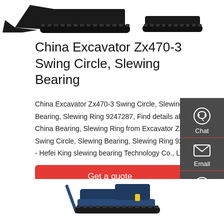[Figure (photo): Top portion of excavator on crawler tracks, dark/black machinery shown cropped at top of page]
China Excavator Zx470-3 Swing Circle, Slewing Bearing
China Excavator Zx470-3 Swing Circle, Slewing Bearing, Slewing Ring 9247287, Find details about China Bearing, Slewing Ring from Excavator Zx470-3 Swing Circle, Slewing Bearing, Slewing Ring 9247287 - Hefei King slewing bearing Technology Co., Ltd.
Get a quote
[Figure (photo): Bottom portion of blue construction/excavator equipment, partially visible at bottom of page]